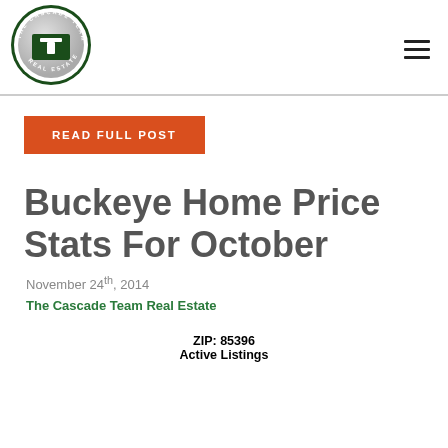[Figure (logo): The Cascade Team Real Estate circular logo with dark green background]
READ FULL POST
Buckeye Home Price Stats For October
November 24th, 2014
The Cascade Team Real Estate
ZIP: 85396
Active Listings